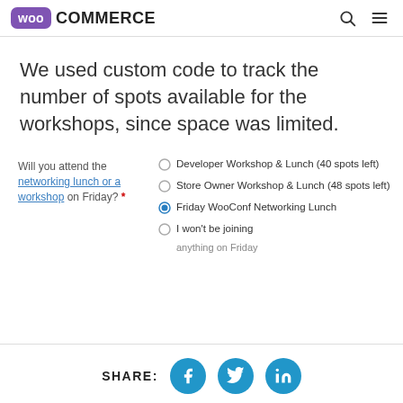WooCommerce
We used custom code to track the number of spots available for the workshops, since space was limited.
Will you attend the networking lunch or a workshop on Friday? * Developer Workshop & Lunch (40 spots left) | Store Owner Workshop & Lunch (48 spots left) | Friday WooConf Networking Lunch (selected) | I won't be joining anything on Friday
SHARE: [Facebook] [Twitter] [LinkedIn]